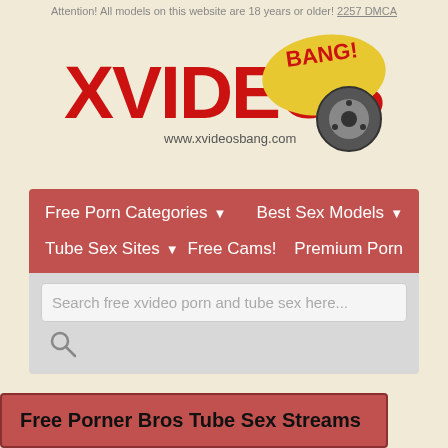Attention! All models on this website are 18 years or older! 2257 DMCA
[Figure (logo): XVideosBang logo with film reel graphic and www.xvideosbang.com URL]
Free Porn Categories ▾  Best Sex Models ▾  Tube Sex Sites ▾  Free Cams!  Premium Porn
Search free xvideo porn and tube sex here...
Free Porner Bros Tube Sex Streams